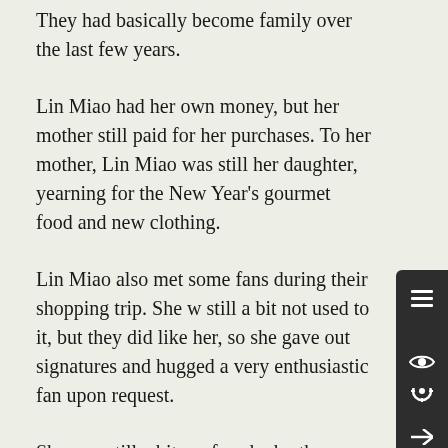They had basically become family over the last few years.
Lin Miao had her own money, but her mother still paid for her purchases. To her mother, Lin Miao was still her daughter, yearning for the New Year's gourmet food and new clothing.
Lin Miao also met some fans during their shopping trip. She was still a bit not used to it, but they did like her, so she gave out signatures and hugged a very enthusiastic fan upon request.
She was still a bit confused why these people would like her despite her not doing anything for them. It gave her an indescribable feeling.
Her mother also bought her a pair of high-heeled boots. It was pretty, but she found it very uncomfortable to walk in.